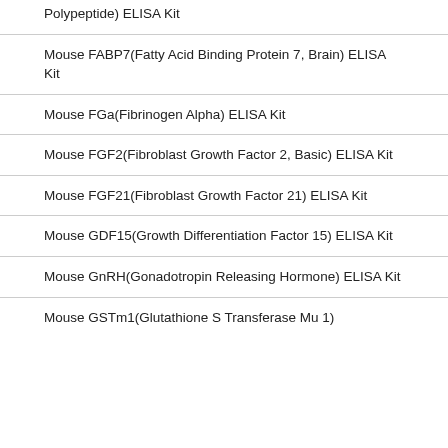Polypeptide) ELISA Kit
Mouse FABP7(Fatty Acid Binding Protein 7, Brain) ELISA Kit
Mouse FGa(Fibrinogen Alpha) ELISA Kit
Mouse FGF2(Fibroblast Growth Factor 2, Basic) ELISA Kit
Mouse FGF21(Fibroblast Growth Factor 21) ELISA Kit
Mouse GDF15(Growth Differentiation Factor 15) ELISA Kit
Mouse GnRH(Gonadotropin Releasing Hormone) ELISA Kit
Mouse GSTm1(Glutathione S Transferase Mu 1)